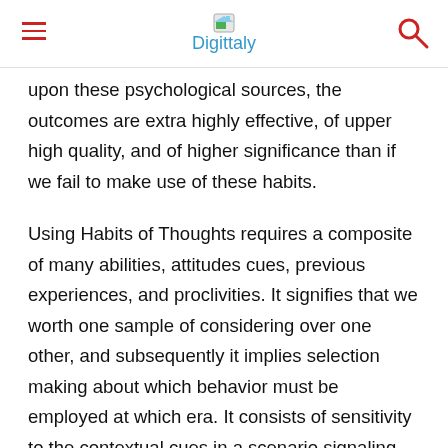Digittaly
upon these psychological sources, the outcomes are extra highly effective, of upper high quality, and of higher significance than if we fail to make use of these habits.
Using Habits of Thoughts requires a composite of many abilities, attitudes cues, previous experiences, and proclivities. It signifies that we worth one sample of considering over one other, and subsequently it implies selection making about which behavior must be employed at which era. It consists of sensitivity to the contextual cues in a scenario signaling that it's an acceptable time and circumstance to make use of this sample.